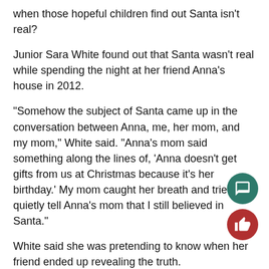when those hopeful children find out Santa isn't real?
Junior Sara White found out that Santa wasn't real while spending the night at her friend Anna's house in 2012.
“Somehow the subject of Santa came up in the conversation between Anna, me, her mom, and my mom,” White said. “Anna’s mom said something along the lines of, ‘Anna doesn’t get gifts from us at Christmas because it’s her birthday.’ My mom caught her breath and tried to quietly tell Anna’s mom that I still believed in Santa.”
White said she was pretending to know when her friend ended up revealing the truth.
“I just pretended like I didn’t believe. The whole way home my mom had to explain that Santa was in fact not real, and she was sorry that my friend had ruined Christmas for me.”